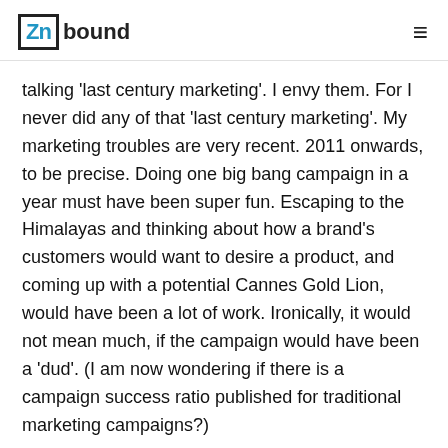Znbound
talking 'last century marketing'. I envy them. For I never did any of that 'last century marketing'. My marketing troubles are very recent. 2011 onwards, to be precise. Doing one big bang campaign in a year must have been super fun. Escaping to the Himalayas and thinking about how a brand's customers would want to desire a product, and coming up with a potential Cannes Gold Lion, would have been a lot of work. Ironically, it would not mean much, if the campaign would have been a 'dud'. (I am now wondering if there is a campaign success ratio published for traditional marketing campaigns?)